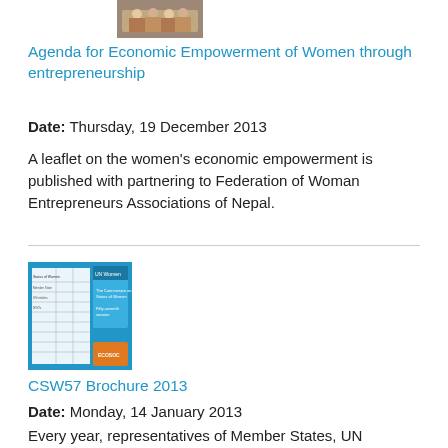[Figure (photo): Small thumbnail photo of people at a meeting or gathering]
Agenda for Economic Empowerment of Women through entrepreneurship
Date: Thursday, 19 December 2013
A leaflet on the women's economic empowerment is published with partnering to Federation of Woman Entrepreneurs Associations of Nepal.
[Figure (photo): Thumbnail image of the CSW57 Brochure 2013 document, showing a blue-themed leaflet with UN Women branding and tables]
CSW57 Brochure 2013
Date: Monday, 14 January 2013
Every year, representatives of Member States, UN entities, and NGOs in consultative status with the Economic and Social Council (ECOSOC) and other stakeholders gather for the annual session of the Commission on the Status of Women (CSW) at United Nations Headquarters in New York.